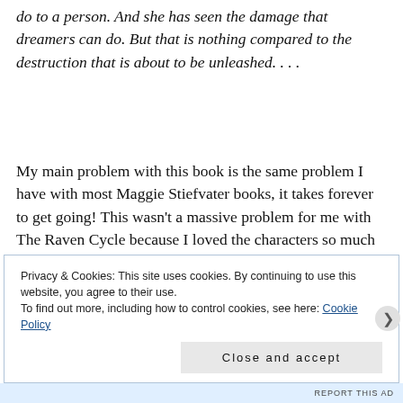do to a person. And she has seen the damage that dreamers can do. But that is nothing compared to the destruction that is about to be unleashed. . . .
My main problem with this book is the same problem I have with most Maggie Stiefvater books, it takes forever to get going! This wasn't a massive problem for me with The Raven Cycle because I loved the characters so much that I didn't care, but when the large majority of the cast are new and you're not already invested, the slow pacing of the plot becomes more of a problem and it felt like
Privacy & Cookies: This site uses cookies. By continuing to use this website, you agree to their use.
To find out more, including how to control cookies, see here: Cookie Policy
Close and accept